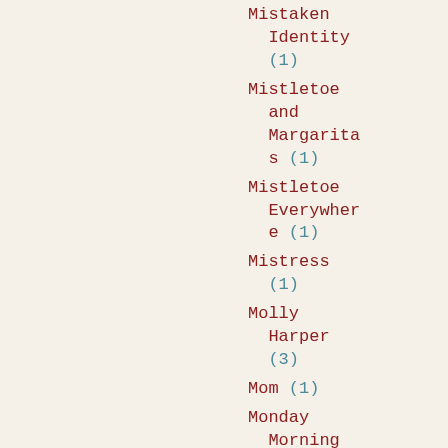Mistaken Identity (1)
Mistletoe and Margaritas (1)
Mistletoe Everywhere (1)
Mistress (1)
Molly Harper (3)
Mom (1)
Monday Morning